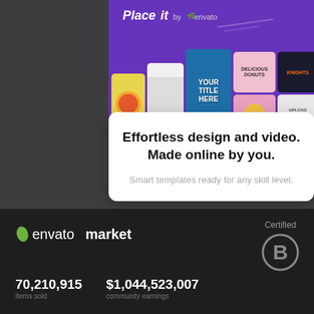[Figure (screenshot): Placeit by Envato advertisement showing a purple banner with template mockups including social media designs, t-shirt mockups, logos, and a white modal card below with headline text]
Effortless design and video. Made online by you.
Smart templates ready for any skill level.
[Figure (logo): Envato Market logo with green leaf icon]
70,210,915
$1,044,523,007
items sold
community earnings
[Figure (logo): Certified B Corporation badge — grey circle with B inside]